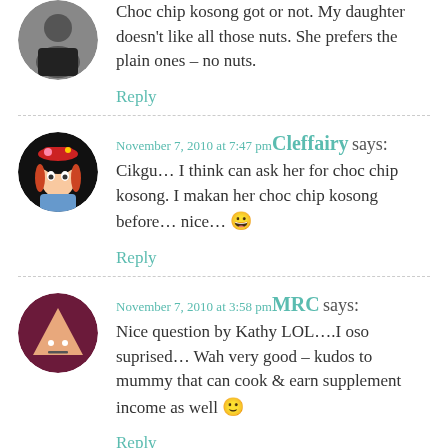Choc chip kosong got or not. My daughter doesn't like all those nuts. She prefers the plain ones – no nuts.
Reply
November 7, 2010 at 7:47 pm Cleffairy says:
Cikgu… I think can ask her for choc chip kosong. I makan her choc chip kosong before… nice… 😀
Reply
November 7, 2010 at 3:58 pm MRC says:
Nice question by Kathy LOL….I oso suprised… Wah very good – kudos to mummy that can cook & earn supplement income as well 🙂
Reply